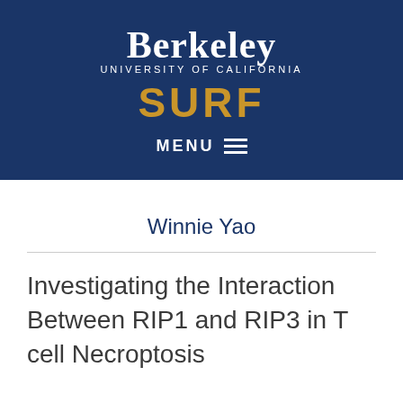[Figure (logo): UC Berkeley SURF program logo with navy blue background, 'Berkeley' in white serif font, 'UNIVERSITY OF CALIFORNIA' in small white caps, 'SURF' in large gold/amber letters, and 'MENU ≡' navigation bar in white]
Winnie Yao
Investigating the Interaction Between RIP1 and RIP3 in T cell Necroptosis